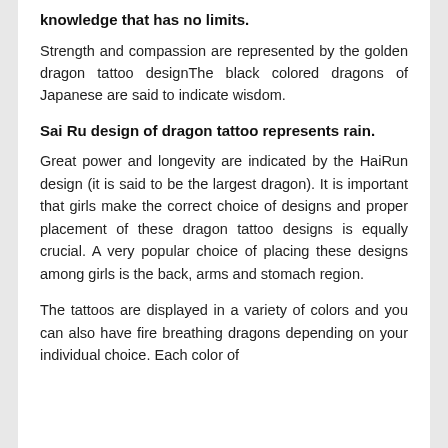knowledge that has no limits.
Strength and compassion are represented by the golden dragon tattoo designThe black colored dragons of Japanese are said to indicate wisdom.
Sai Ru design of dragon tattoo represents rain.
Great power and longevity are indicated by the HaiRun design (it is said to be the largest dragon). It is important that girls make the correct choice of designs and proper placement of these dragon tattoo designs is equally crucial. A very popular choice of placing these designs among girls is the back, arms and stomach region.
The tattoos are displayed in a variety of colors and you can also have fire breathing dragons depending on your individual choice. Each color of